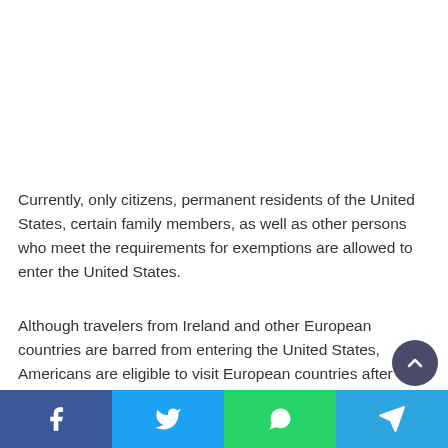Currently, only citizens, permanent residents of the United States, certain family members, as well as other persons who meet the requirements for exemptions are allowed to enter the United States.
Although travelers from Ireland and other European countries are barred from entering the United States, Americans are eligible to visit European countries after the Council of the